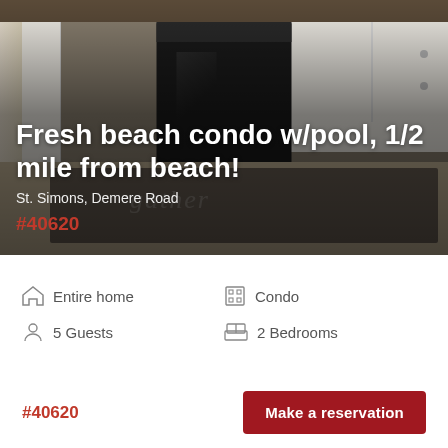[Figure (photo): Kitchen interior photo showing black dishwasher between white cabinets, with a gray 'gather' rug on tile floor]
Fresh beach condo w/pool, 1/2 mile from beach!
St. Simons, Demere Road
#40620
Entire home
Condo
5 Guests
2 Bedrooms
#40620
Make a reservation